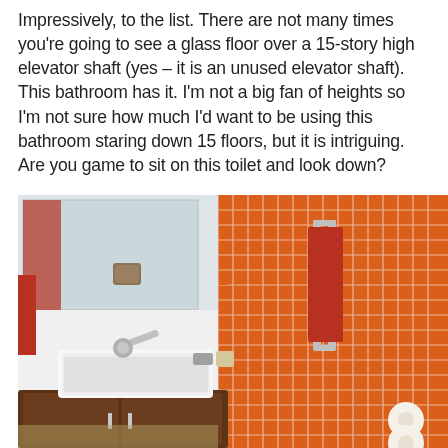Impressively, to the list. There are not many times you're going to see a glass floor over a 15-story high elevator shaft (yes – it is an unused elevator shaft). This bathroom has it. I'm not a big fan of heights so I'm not sure how much I'd want to be using this bathroom staring down 15 floors, but it is intriguing. Are you game to sit on this toilet and look down?
[Figure (photo): Modern bathroom interior with orange mosaic tile walls, a white rectangular vessel sink on a dark wood vanity, chrome wall-mounted faucet, a large mirror, a towel rack with a red/orange towel, and two rolls of toilet paper on the floor in the corner.]